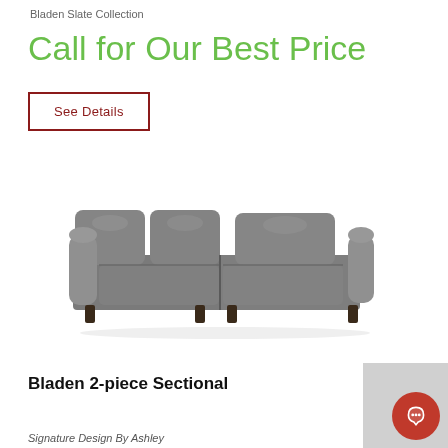Bladen Slate Collection
Call for Our Best Price
See Details
[Figure (photo): Gray leather Bladen 2-piece sectional sofa with L-shape configuration, dark wooden legs, on a white background.]
Bladen 2-piece Sectional
Signature Design By Ashley